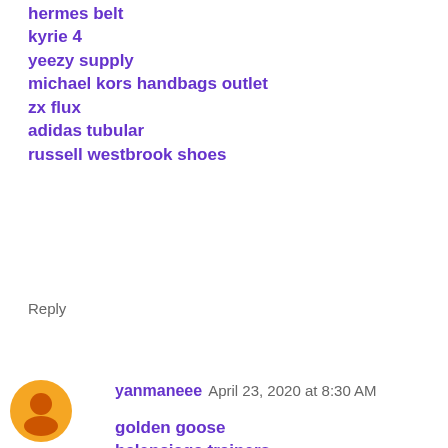hermes belt
kyrie 4
yeezy supply
michael kors handbags outlet
zx flux
adidas tubular
russell westbrook shoes
Reply
yanmaneee  April 23, 2020 at 8:30 AM
golden goose
balenciaga trainers
converse
curry 6
supreme
yeezy shoes
louboutin shoes
golden gooses
supreme
christian louboutin outlet